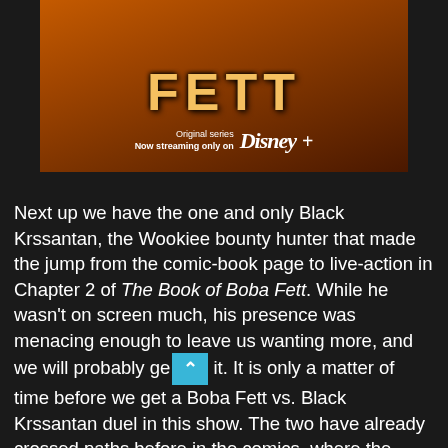[Figure (photo): The Book of Boba Fett promotional banner showing orange/dark red smoky background with large stylized FETT title text and Disney+ streaming logo with text 'Original series Now streaming only on Disney+']
Next up we have the one and only Black Krssantan, the Wookiee bounty hunter that made the jump from the comic-book page to live-action in Chapter 2 of The Book of Boba Fett. While he wasn't on screen much, his presence was menacing enough to leave us wanting more, and we will probably get it. It is only a matter of time before we get a Boba Fett vs. Black Krssantan duel in this show. The two have already crossed paths before in the comics, where the Wookiee